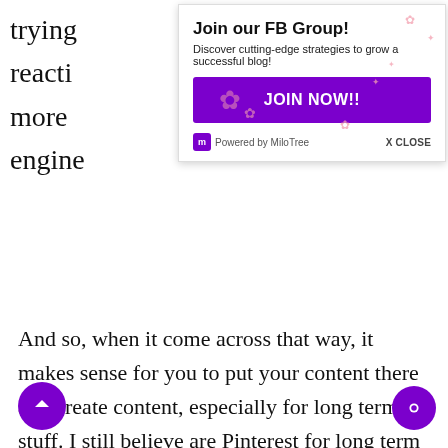trying
reacti
more
engine
[Figure (screenshot): MiloTree popup overlay: 'Join our FB Group! Discover cutting-edge strategies to grow a successful blog!' with a purple JOIN NOW!! button, pink sakura flower decorations, and Powered by MiloTree footer with X CLOSE link.]
And so, when it come across that way, it makes sense for you to put your content there and create content, especially for long term stuff. I still believe are Pinterest for long term traffic and learn long term, it’s a great place to put your content.
It’s not as great as it used to be when we first started. But it’s still a place, I think, especially for r audience for bloggers to still put content there and optimize for that platform.